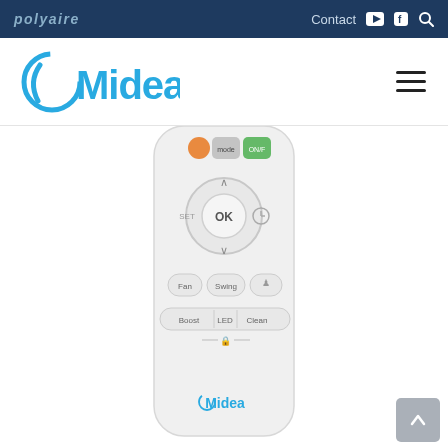polyaire | Contact [YouTube] [Facebook] [Search]
[Figure (logo): Midea brand logo in blue with circular swoosh icon]
[Figure (photo): Midea air conditioner remote control — white plastic remote with navigation ring (SET, OK, clock buttons), Fan, Swing, person buttons, Boost/LED/Clean bar, and Midea logo at bottom]